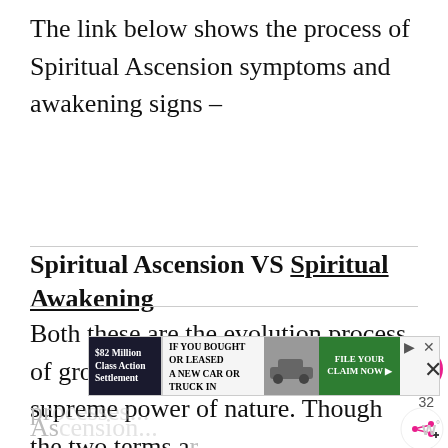The link below shows the process of Spiritual Ascension symptoms and awakening signs –
Spiritual Ascension VS Spiritual Awakening
Both these are the evolution process of growth that aims to merge with a supreme power of nature. Though the two terms are used synonymously, there is a thin line of difference between the two. Awakening is